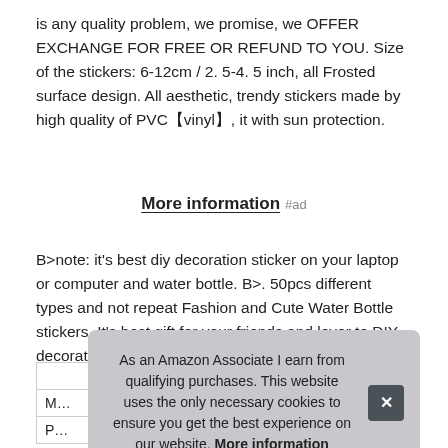is any quality problem, we promise, we OFFER EXCHANGE FOR FREE OR REFUND TO YOU. Size of the stickers: 6-12cm / 2. 5-4. 5 inch, all Frosted surface design. All aesthetic, trendy stickers made by high quality of PVC【vinyl】, it with sun protection.
More information #ad
B>note: it's best diy decoration sticker on your laptop or computer and water bottle. B>. 50pcs different types and not repeat Fashion and Cute Water Bottle stickers. It's best gift for your friends and lover to DIY decoration.
| M… |
| P… |
As an Amazon Associate I earn from qualifying purchases. This website uses the only necessary cookies to ensure you get the best experience on our website. More information